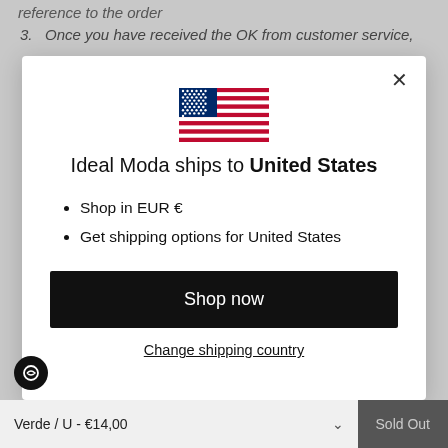reference to the order
3.  Once you have received the OK from customer service,
[Figure (illustration): US flag emoji/icon displayed in center of modal dialog]
Ideal Moda ships to United States
Shop in EUR €
Get shipping options for United States
Shop now
Change shipping country
Verde / U - €14,00
Sold Out